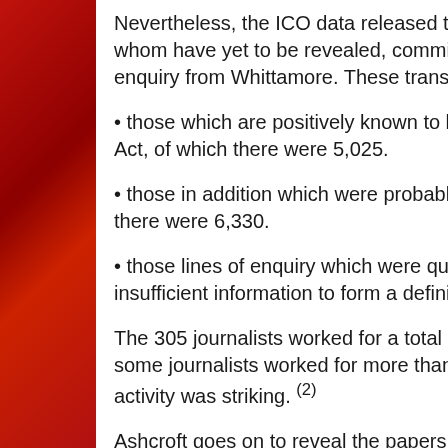Nevertheless, the ICO data released to me, whom have yet to be revealed, commissioned enquiry from Whittamore. These transactions
• those which are positively known to have Act, of which there were 5,025.
• those in addition which were probably a b there were 6,330.
• those lines of enquiry which were questio insufficient information to form a definitive
The 305 journalists worked for a total of 21 some journalists worked for more than one activity was striking. (2)
Ashcroft goes on to reveal the papers which th